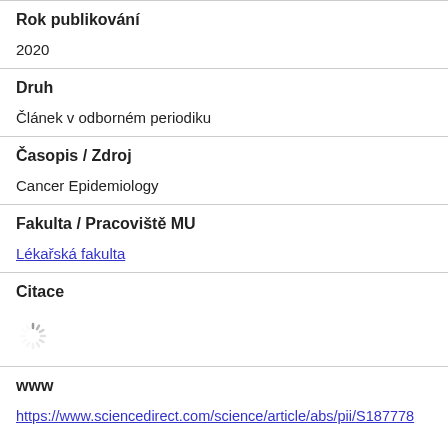Rok publikování
2020
Druh
Článek v odborném periodiku
Časopis / Zdroj
Cancer Epidemiology
Fakulta / Pracoviště MU
Lékařská fakulta
Citace
[Figure (other): Loading spinner animation]
www
https://www.sciencedirect.com/science/article/abs/pii/S187778